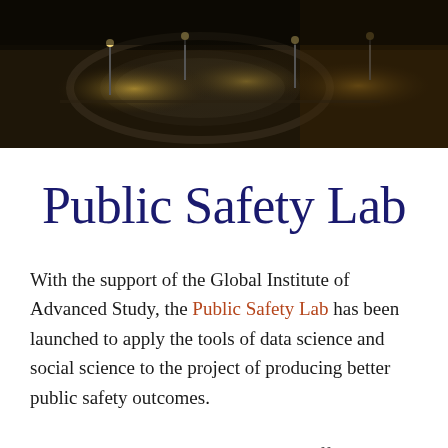[Figure (photo): Aerial night photograph of a circular plaza or roundabout covered in snow, lit by street lamps with warm orange glow against dark surroundings.]
Public Safety Lab
With the support of the Global Institute of Advanced Study, the Public Safety Lab has been launched to apply the tools of data science and social science to the project of producing better public safety outcomes.
For example, many relatively minor offenses are